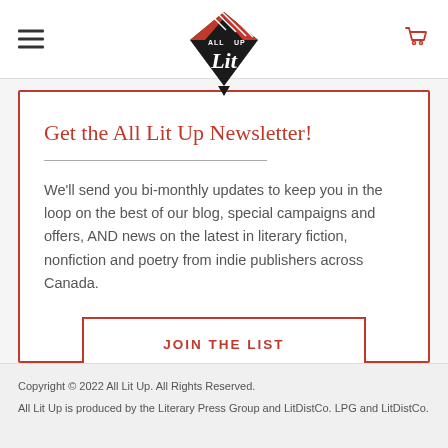[Figure (logo): All Lit Up diamond-shaped logo with red and black design and script 'Lit' text]
Get the All Lit Up Newsletter!
We'll send you bi-monthly updates to keep you in the loop on the best of our blog, special campaigns and offers, AND news on the latest in literary fiction, nonfiction and poetry from indie publishers across Canada.
JOIN THE LIST
Copyright © 2022 All Lit Up. All Rights Reserved.
All Lit Up is produced by the Literary Press Group and LitDistCo. LPG and LitDistCo.